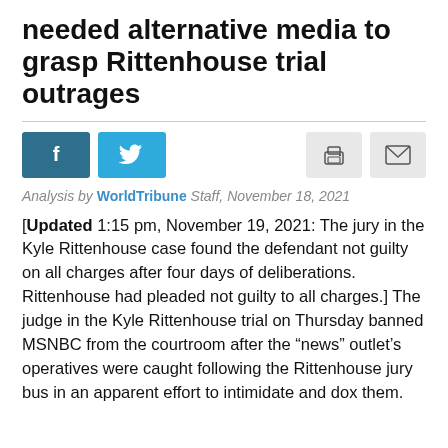needed alternative media to grasp Rittenhouse trial outrages
[Figure (other): Social sharing buttons row: Facebook (dark teal), Twitter (light blue), Print (light gray), Email (light gray)]
Analysis by WorldTribune Staff, November 18, 2021
[Updated 1:15 pm, November 19, 2021: The jury in the Kyle Rittenhouse case found the defendant not guilty on all charges after four days of deliberations. Rittenhouse had pleaded not guilty to all charges.] The judge in the Kyle Rittenhouse trial on Thursday banned MSNBC from the courtroom after the “news” outlet’s operatives were caught following the Rittenhouse jury bus in an apparent effort to intimidate and dox them.